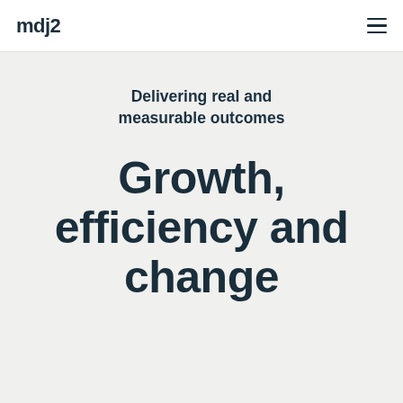mdj2
Delivering real and measurable outcomes
Growth, efficiency and change